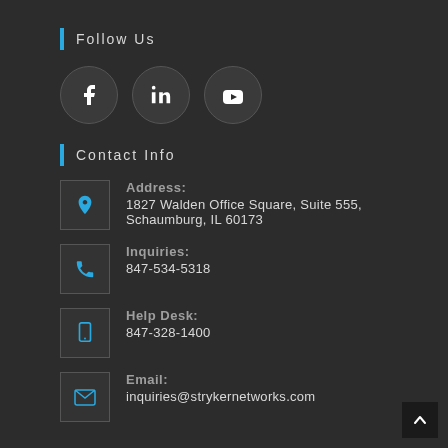Follow Us
[Figure (illustration): Three social media icons in dark circles: Facebook, LinkedIn, YouTube]
Contact Info
Address: 1827 Walden Office Square, Suite 555, Schaumburg, IL 60173
Inquiries: 847-534-5318
Help Desk: 847-328-1400
Email: inquiries@strykernetworks.com